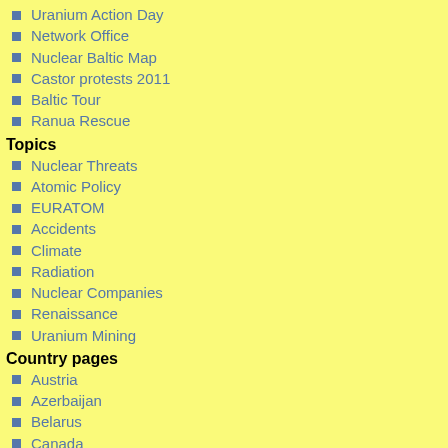Uranium Action Day
Network Office
Nuclear Baltic Map
Castor protests 2011
Baltic Tour
Ranua Rescue
Topics
Nuclear Threats
Atomic Policy
EURATOM
Accidents
Climate
Radiation
Nuclear Companies
Renaissance
Uranium Mining
Country pages
Austria
Azerbaijan
Belarus
Canada
Finland
Germany
Latvia
Russia